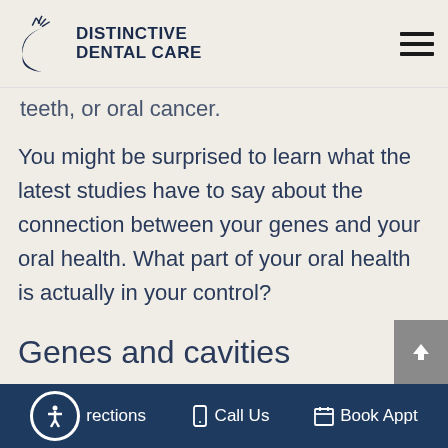Distinctive Dental Care
teeth, or oral cancer.
You might be surprised to learn what the latest studies have to say about the connection between your genes and your oral health. What part of your oral health is actually in your control?
Genes and cavities
Are genetics a significant factor
Directions  Call Us  Book Appt